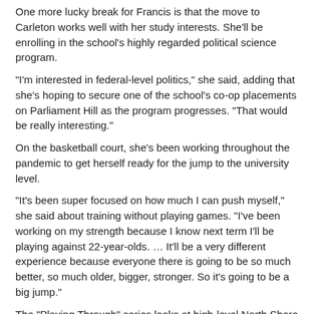One more lucky break for Francis is that the move to Carleton works well with her study interests. She'll be enrolling in the school's highly regarded political science program.
"I'm interested in federal-level politics," she said, adding that she's hoping to secure one of the school's co-op placements on Parliament Hill as the program progresses. "That would be really interesting."
On the basketball court, she's been working throughout the pandemic to get herself ready for the jump to the university level.
"It's been super focused on how much I can push myself," she said about training without playing games. "I've been working on my strength because I know next term I'll be playing against 22-year-olds. … It'll be a very different experience because everyone there is going to be so much better, so much older, bigger, stronger. So it's going to be a big jump."
The "Playing Through" series looks at high-level North Shore athletes navigating the jump from high school to the post-secondary level during the COVID-19 era. Check out this feature on Handsworth diver Sadie Howard, who is headed to Pennsylvania University to compete in the NCAA.